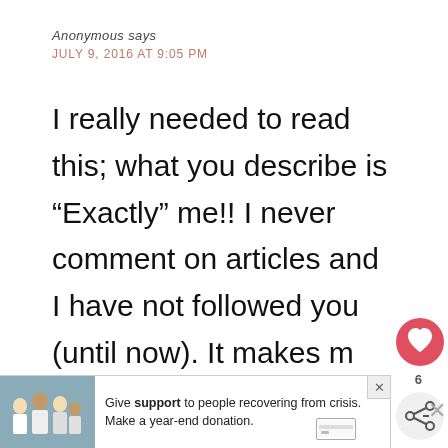Anonymous says
JULY 9, 2016 AT 9:05 PM
I really needed to read this; what you describe is “Exactly” me!! I never comment on articles and I have not followed you (until now). It makes me feel better knowing that it’s not just my problem because I seriously was feeling like I must be very de[ficient] to not be able to do these (simple) t[hings]...
[Figure (infographic): Heart icon widget with like count of 6 and share button overlay on right side of page]
[Figure (infographic): What's Next promotional box showing 'Am I doing this MOM...' article thumbnail]
[Figure (infographic): Advertisement banner: Give support to people recovering from crisis. Make a year-end donation. Shows family photo.]